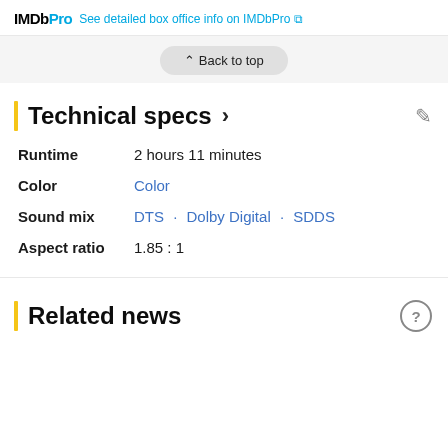IMDbPro See detailed box office info on IMDbPro
Back to top
Technical specs >
Runtime   2 hours 11 minutes
Color   Color
Sound mix   DTS · Dolby Digital · SDDS
Aspect ratio   1.85 : 1
Related news